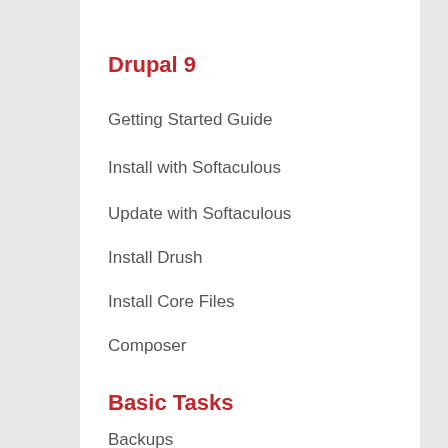Drupal 9
Getting Started Guide
Install with Softaculous
Update with Softaculous
Install Drush
Install Core Files
Composer
Basic Tasks
Backups
Manage Users
Webforms